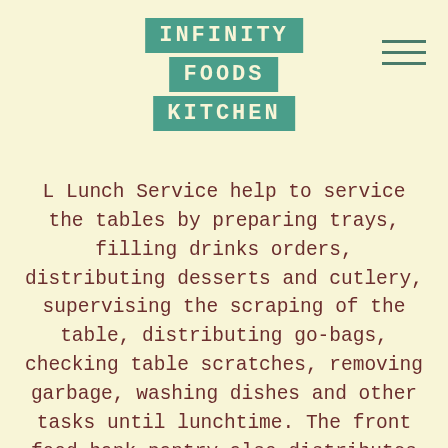INFINITY FOODS KITCHEN
L Lunch Service help to service the tables by preparing trays, filling drinks orders, distributing desserts and cutlery, supervising the scraping of the table, distributing go-bags, checking table scratches, removing garbage, washing dishes and other tasks until lunchtime. The front food bank pantry also distributes packages of food to provide hot meals so recipients can cook multiple meals for themselves at home. While soup kitchens typically provide food to those who ask questions, food banks have procedures in place to prevent